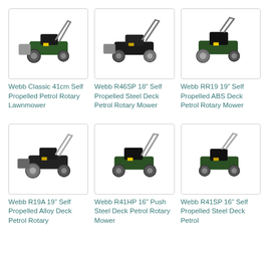[Figure (photo): Webb Classic 41cm Self Propelled Petrol Rotary Lawnmower product image]
[Figure (photo): Webb R46SP 18-inch Self Propelled Steel Deck Petrol Rotary Mower product image]
[Figure (photo): Webb RR19 19-inch Self Propelled ABS Deck Petrol Rotary Mower product image]
Webb Classic 41cm Self Propelled Petrol Rotary Lawnmower
Webb R46SP 18” Self Propelled Steel Deck Petrol Rotary Mower
Webb RR19 19” Self Propelled ABS Deck Petrol Rotary Mower
[Figure (photo): Webb R19A 19-inch Self Propelled Alloy Deck Petrol Rotary product image]
[Figure (photo): Webb R41HP 16-inch Push Steel Deck Petrol Rotary Mower product image]
[Figure (photo): Webb R41SP 16-inch Self Propelled Steel Deck Petrol product image]
Webb R19A 19” Self Propelled Alloy Deck Petrol Rotary
Webb R41HP 16” Push Steel Deck Petrol Rotary Mower
Webb R41SP 16” Self Propelled Steel Deck Petrol